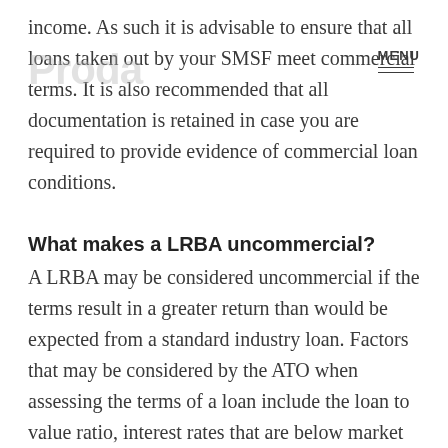income. As such it is advisable to ensure that all loans taken out by your SMSF meet commercial terms. It is also recommended that all documentation is retained in case you are required to provide evidence of commercial loan conditions.
MENU
What makes a LRBA uncommercial?
A LRBA may be considered uncommercial if the terms result in a greater return than would be expected from a standard industry loan. Factors that may be considered by the ATO when assessing the terms of a loan include the loan to value ratio, interest rates that are below market value, and unusually long repayment periods.